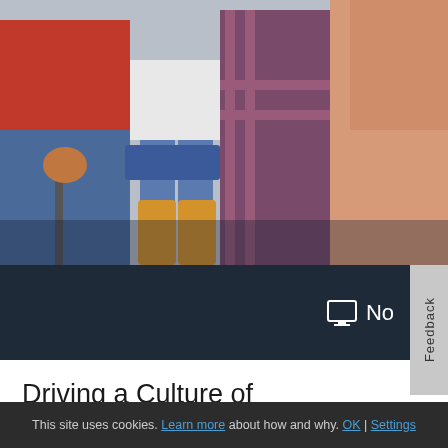[Figure (photo): Photo of people standing together, showing torsos and legs; one person wears yellow rain boots, another holds a pole; colorful clothing including red, blue jeans, plaid]
Driving a Culture of Responsibility
This site uses cookies. Learn more about how and why. OK | Settings